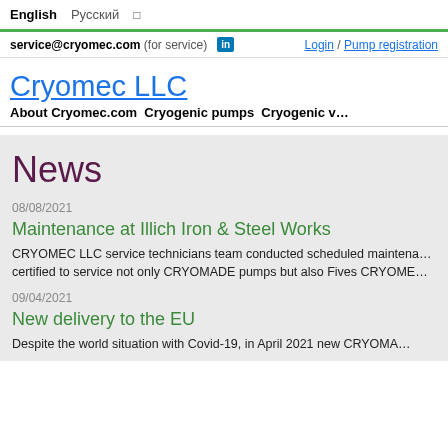English  Русский  □
service@cryomec.com (for service)  in  Login / Pump registration
Cryomec LLC
About Cryomec.comCryogenic pumpsCryogenic v…
News
08/08/2021
Maintenance at Illich Iron & Steel Works
CRYOMEC LLC service technicians team conducted scheduled maintena… certified to service not only CRYOMADE pumps but also Fives CRYOME…
09/04/2021
New delivery to the EU
Despite the world situation with Covid-19, in April 2021 new CRYOMA…